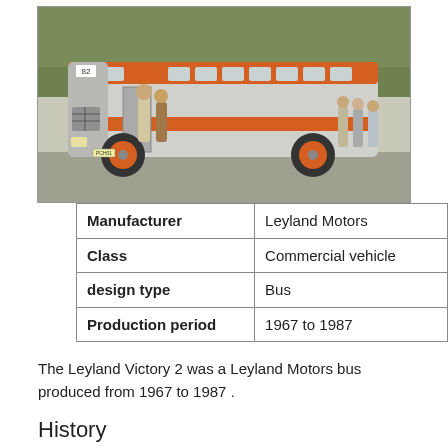[Figure (photo): A Leyland Victory 2 bus, silver with orange stripe, with people boarding and standing around it on a road, trees in background.]
| Manufacturer | Leyland Motors |
| Class | Commercial vehicle |
| design type | Bus |
| Production period | 1967 to 1987 |
The Leyland Victory 2 was a Leyland Motors bus produced from 1967 to 1987 .
History
The Leyland Victory Mk 2 was a chassis for buses of the British commercial vehicle manufacturer Leyland